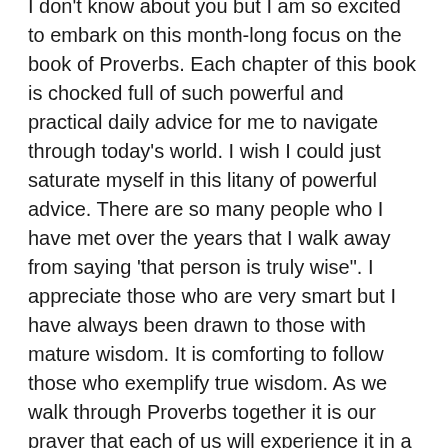I don't know about you but I am so excited to embark on this month-long focus on the book of Proverbs. Each chapter of this book is chocked full of such powerful and practical daily advice for me to navigate through today's world. I wish I could just saturate myself in this litany of powerful advice. There are so many people who I have met over the years that I walk away from saying 'that person is truly wise". I appreciate those who are very smart but I have always been drawn to those with mature wisdom. It is comforting to follow those who exemplify true wisdom. As we walk through Proverbs together it is our prayer that each of us will experience it in a new, personal, and powerful way. Proverbs has so much to teach us all and is especially helpful in what feels at times like a very mixed-up world.